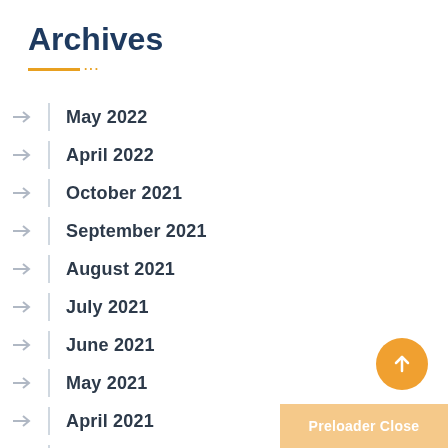Archives
May 2022
April 2022
October 2021
September 2021
August 2021
July 2021
June 2021
May 2021
April 2021
March 2021